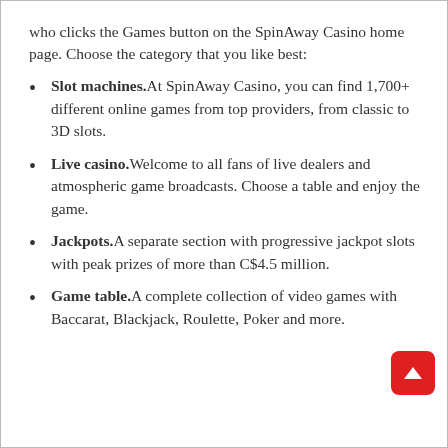who clicks the Games button on the SpinAway Casino home page. Choose the category that you like best:
Slot machines. At SpinAway Casino, you can find 1,700+ different online games from top providers, from classic to 3D slots.
Live casino. Welcome to all fans of live dealers and atmospheric game broadcasts. Choose a table and enjoy the game.
Jackpots. A separate section with progressive jackpot slots with peak prizes of more than C$4.5 million.
Game table. A complete collection of video games with Baccarat, Blackjack, Roulette, Poker and more.